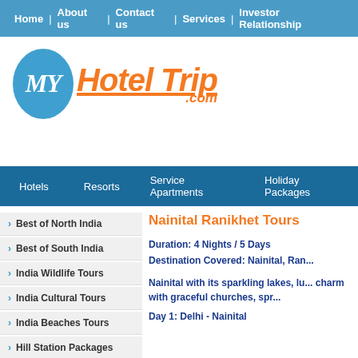Home | About us | Contact us | Services | Investor Relationship
[Figure (logo): MyHotelTrip.com logo with blue oval containing MY in white italic text and orange Hotel Trip .com text]
Hotels  Resorts  Service Apartments  Holiday Packages
> Best of North India
> Best of South India
> India Wildlife Tours
> India Cultural Tours
> India Beaches Tours
> Hill Station Packages
Nainital Ranikhet Tours
Duration: 4 Nights / 5 Days
Destination Covered: Nainital, Ran...
Nainital with its sparkling lakes, lu... charm with graceful churches, spr...
Day 1: Delhi - Nainital